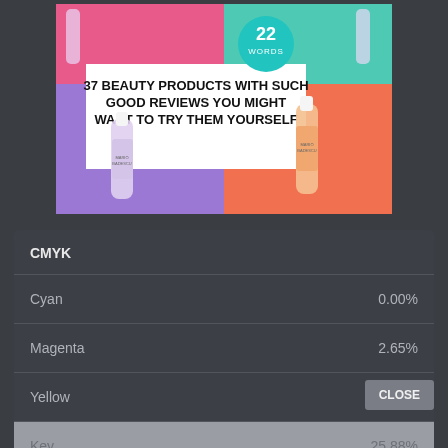[Figure (photo): Article thumbnail showing Mario Badescu face spray bottles on colorful backgrounds (purple, orange, pink, green). Bold title text reads '37 BEAUTY PRODUCTS WITH SUCH GOOD REVIEWS YOU MIGHT WANT TO TRY THEM YOURSELF' with a '22 WORDS' teal badge.]
| CMYK |  |
| --- | --- |
| Cyan | 0.00% |
| Magenta | 2.65% |
| Yellow | 2.12% |
| Key | 25.88% |